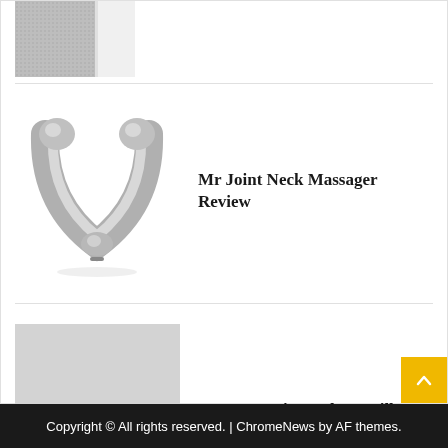[Figure (photo): Partial view of a speaker or fabric-covered device at top]
[Figure (photo): Silver neck massager device shaped like a U/horseshoe]
Mr Joint Neck Massager Review
[Figure (photo): Light grey placeholder image rectangle]
How to Register The Vanilla Gift Card
Copyright © All rights reserved. | ChromeNews by AF themes.